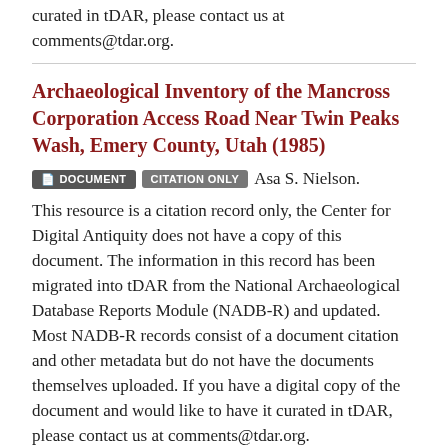curated in tDAR, please contact us at comments@tdar.org.
Archaeological Inventory of the Mancross Corporation Access Road Near Twin Peaks Wash, Emery County, Utah (1985)
DOCUMENT  CITATION ONLY  Asa S. Nielson.
This resource is a citation record only, the Center for Digital Antiquity does not have a copy of this document. The information in this record has been migrated into tDAR from the National Archaeological Database Reports Module (NADB-R) and updated. Most NADB-R records consist of a document citation and other metadata but do not have the documents themselves uploaded. If you have a digital copy of the document and would like to have it curated in tDAR, please contact us at comments@tdar.org.
Archaeological Inventory of the Proposed Ash Disposal Site Expansion at the Utah Power and Light